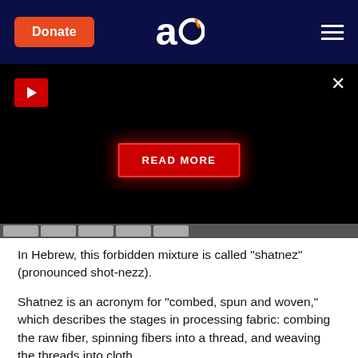[Figure (screenshot): Website header with dark navy background. Orange Donate button on left, stylized 'ao' logo in center, hamburger menu on right.]
[Figure (screenshot): Black video player area with red play button top-left, X close button top-right, and red READ MORE button in center with glow effect.]
In Hebrew, this forbidden mixture is called "shatnez" (pronounced shot-nezz).
Shatnez is an acronym for "combed, spun and woven," which describes the stages in processing fabric: combing the raw fiber, spinning fibers into a thread, and weaving the threads into cloth.
We send suspicious
The mitzvah of shatnez still applies